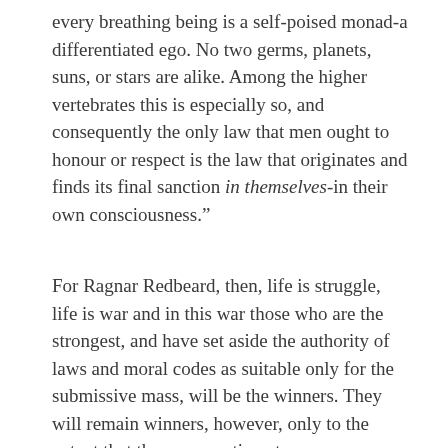every breathing being is a self-poised monad-a differentiated ego. No two germs, planets, suns, or stars are alike. Among the higher vertebrates this is especially so, and consequently the only law that men ought to honour or respect is the law that originates and finds its final sanction in themselves-in their own consciousness.”
For Ragnar Redbeard, then, life is struggle, life is war and in this war those who are the strongest, and have set aside the authority of laws and moral codes as suitable only for the submissive mass, will be the winners. They will remain winners, however, only to the extent that they can continue to prove themselves the strongest. If others arise who